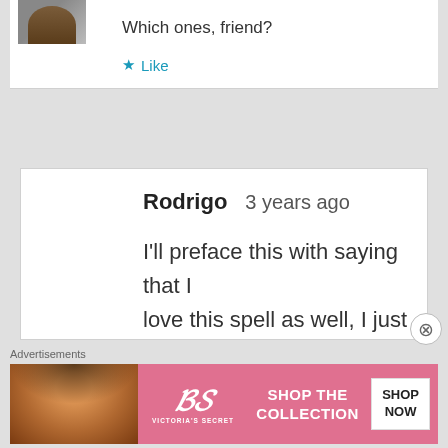Which ones, friend?
Like
Rodrigo   3 years ago
I'll preface this with saying that I love this spell as well, I just think its important to keep to the rules as written to preserve the usefulness
Advertisements
[Figure (screenshot): Victoria's Secret advertisement banner with model, VS logo, 'SHOP THE COLLECTION' text, and 'SHOP NOW' button]